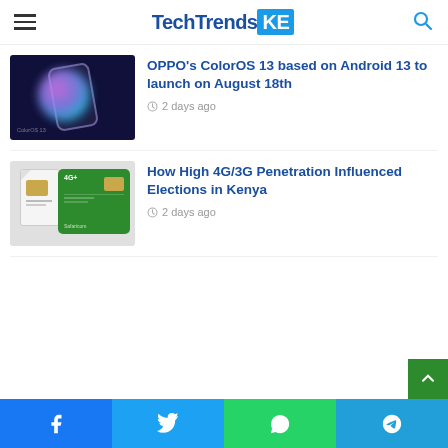TechTrendsKE
[Figure (photo): OPPO ColorOS 13 promotional image showing a phone with colorful blob graphic on dark blue background]
OPPO's ColorOS 13 based on Android 13 to launch on August 18th
2 days ago
[Figure (photo): Green Safaricom SIM card with 4G+ branding on light gray background]
How High 4G/3G Penetration Influenced Elections in Kenya
2 days ago
Facebook Twitter WhatsApp Telegram